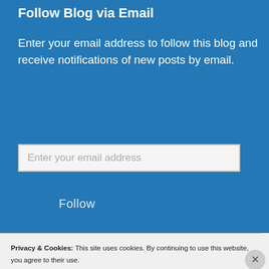Follow Blog via Email
Enter your email address to follow this blog and receive notifications of new posts by email.
Enter your email address
Follow
Privacy & Cookies: This site uses cookies. By continuing to use this website, you agree to their use. To find out more, including how to control cookies, see here: Cookie Policy
Close and accept